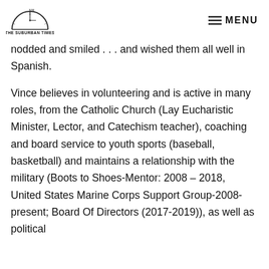THE SUBURBAN TIMES | MENU
nodded and smiled . . . and wished them all well in Spanish.
Vince believes in volunteering and is active in many roles, from the Catholic Church (Lay Eucharistic Minister, Lector, and Catechism teacher), coaching and board service to youth sports (baseball, basketball) and maintains a relationship with the military (Boots to Shoes-Mentor: 2008 – 2018, United States Marine Corps Support Group-2008-present; Board Of Directors (2017-2019)), as well as political